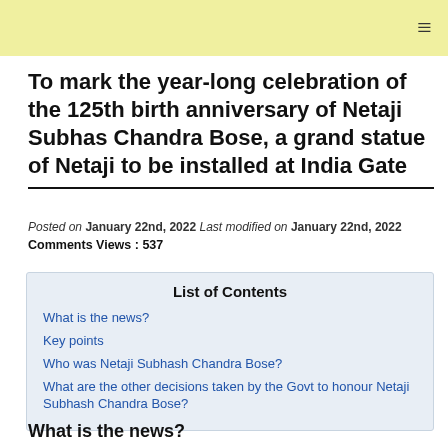☰
To mark the year-long celebration of the 125th birth anniversary of Netaji Subhas Chandra Bose, a grand statue of Netaji to be installed at India Gate
Posted on January 22nd, 2022 Last modified on January 22nd, 2022
Comments Views : 537
| List of Contents |
| --- |
| What is the news? |
| Key points |
| Who was Netaji Subhash Chandra Bose? |
| What are the other decisions taken by the Govt to honour Netaji Subhash Chandra Bose? |
What is the news?